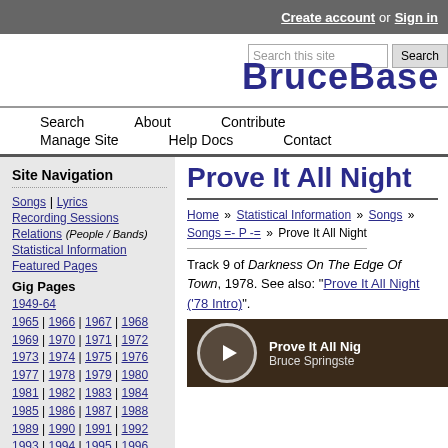Create account or Sign in
[Figure (logo): BruceBase Wiki site logo with search box]
Search | About | Contribute | Manage Site | Help Docs | Contact
Site Navigation
Songs | Lyrics
Recording Sessions
Relations (People / Bands)
Statistical Information
Featured Pages
Gig Pages
1949-64
1965 | 1966 | 1967 | 1968
1969 | 1970 | 1971 | 1972
1973 | 1974 | 1975 | 1976
1977 | 1978 | 1979 | 1980
1981 | 1982 | 1983 | 1984
1985 | 1986 | 1987 | 1988
1989 | 1990 | 1991 | 1992
1993 | 1994 | 1995 | 1996
1997 | 1998 | 1999 | 2000
Prove It All Night
Home » Statistical Information » Songs » Songs =- P -= » Prove It All Night
Track 9 of Darkness On The Edge Of Town, 1978. See also: "Prove It All Night ('78 Intro)".
[Figure (screenshot): Video thumbnail for Prove It All Night by Bruce Springsteen with play button]